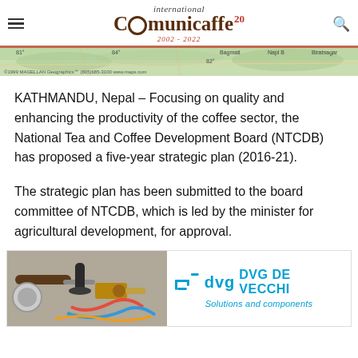international Comunicaffe 20 2002-2022
[Figure (map): Map strip showing Nepal region with geographic labels including Biratnagar, coordinates and Magellan Geographics copyright notice]
KATHMANDU, Nepal – Focusing on quality and enhancing the productivity of the coffee sector, the National Tea and Coffee Development Board (NTCDB) has proposed a five-year strategic plan (2016-21).
The strategic plan has been submitted to the board committee of NTCDB, which is led by the minister for agricultural development, for approval.
[Figure (photo): Advertisement showing coffee machine components/tools on left and DVG De Vecchi logo with text 'Solutions and components' on right]